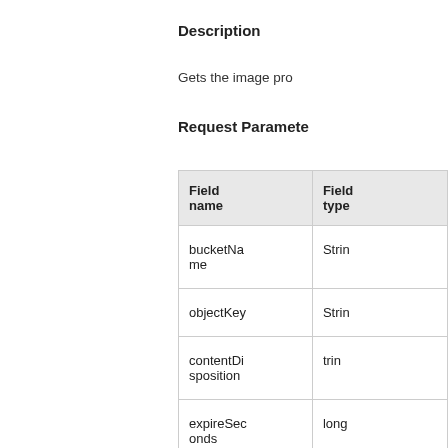Description
Gets the image pro
Request Paramete
| Field name | Field type |
| --- | --- |
| bucketName | String |
| objectKey | String |
| contentDisposition | String |
| expireSeconds | long |